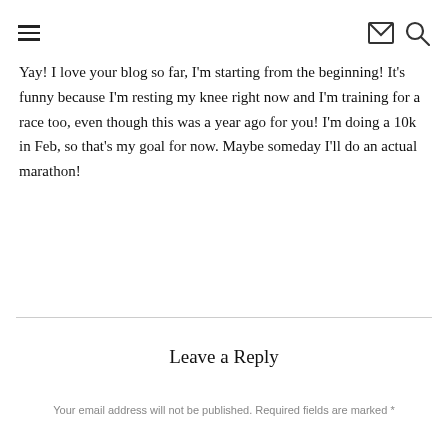≡ [mail icon] [search icon]
Yay! I love your blog so far, I'm starting from the beginning! It's funny because I'm resting my knee right now and I'm training for a race too, even though this was a year ago for you! I'm doing a 10k in Feb, so that's my goal for now. Maybe someday I'll do an actual marathon!
Leave a Reply
Your email address will not be published. Required fields are marked *